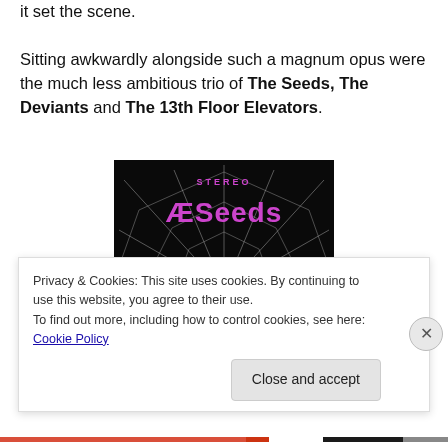it set the scene.

Sitting awkwardly alongside such a magnum opus were the much less ambitious trio of The Seeds, The Deviants and The 13th Floor Elevators.
[Figure (photo): Album cover of The Seeds showing band members tangled in a spider web on a black background with pink 'The Seeds' logo text at the top and 'STEREO' text]
Privacy & Cookies: This site uses cookies. By continuing to use this website, you agree to their use.
To find out more, including how to control cookies, see here: Cookie Policy
Close and accept